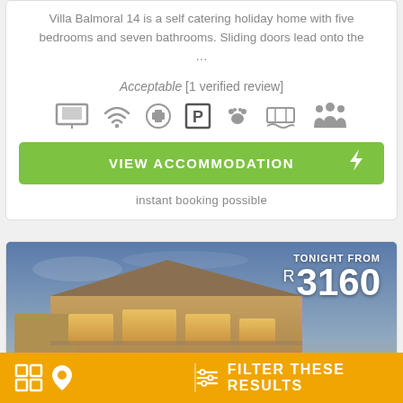Villa Balmoral 14 is a self catering holiday home with five bedrooms and seven bathrooms. Sliding doors lead onto the …
Acceptable [1 verified review]
[Figure (infographic): Row of amenity icons: TV/screen, WiFi (FREE), first aid/facilities, Parking (FREE), pets, pool/swimming, family/group]
[Figure (other): Green button labeled VIEW ACCOMMODATION with lightning bolt icon]
instant booking possible
[Figure (photo): Photo of a modern holiday house/villa at dusk with warm interior lighting, price overlay showing TONIGHT FROM R 3160]
[Figure (infographic): Bottom orange bar with grid icon, map pin icon on the left, and FILTER THESE RESULTS text with filter icon on the right]